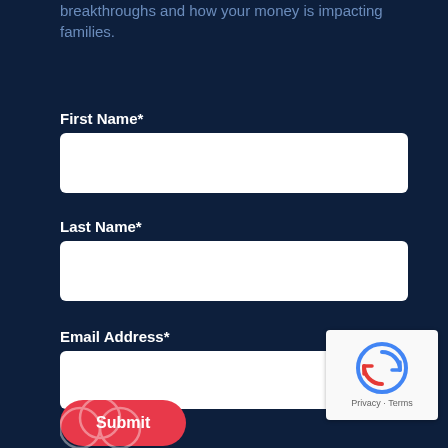breakthroughs and how your money is impacting families.
First Name*
Last Name*
Email Address*
[Figure (other): reCAPTCHA widget with refresh icon and Privacy/Terms links]
[Figure (logo): Partial logo with overlapping circles at bottom left]